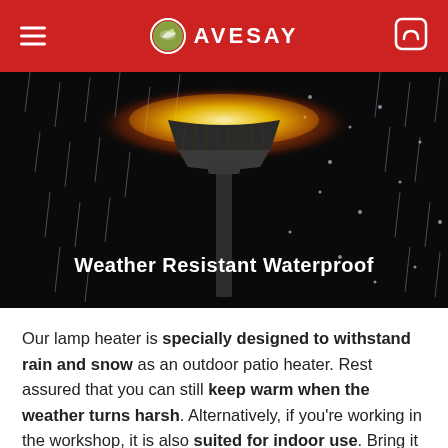AVESAY
[Figure (photo): A patio lamp heater glowing orange against a dark background with rain/snow falling, text overlay reads 'Weather Resistant Waterproof']
Our lamp heater is specially designed to withstand rain and snow as an outdoor patio heater. Rest assured that you can still keep warm when the weather turns harsh. Alternatively, if you're working in the workshop, it is also suited for indoor use. Bring it along as an infrared garage